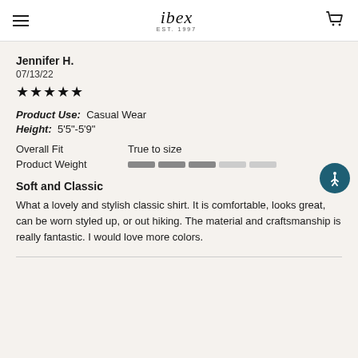ibex EST. 1997
Jennifer H.
07/13/22
★★★★★
Product Use: Casual Wear
Height: 5'5"-5'9"
Overall Fit   True to size
Product Weight [bar indicator: 3 of 5 filled]
Soft and Classic
What a lovely and stylish classic shirt. It is comfortable, looks great, can be worn styled up, or out hiking. The material and craftsmanship is really fantastic. I would love more colors.